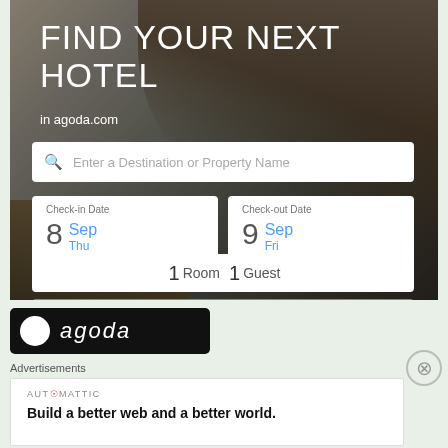[Figure (screenshot): Agoda.com hotel search advertisement banner with scenic rocky coast background. Shows headline 'FIND YOUR NEXT HOTEL in agoda.com', search input field, check-in date (8 Sep Thu), check-out date (9 Sep Fri), room/guest selector (1 Room 1 Guest), and a blue Search button.]
[Figure (logo): Agoda logo on black background bar]
Advertisements
[Figure (screenshot): Automattic advertisement. Shows 'AUT⊙MATTIC' and tagline 'Build a better web and a better world.']